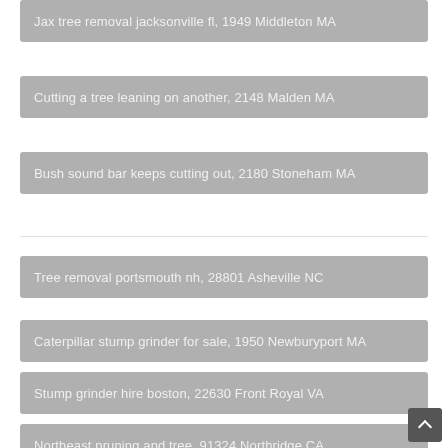Jax tree removal jacksonville fl, 1949 Middleton MA
Cutting a tree leaning on another, 2148 Malden MA
Bush sound bar keeps cutting out, 2180 Stoneham MA
Tree removal portsmouth nh, 28801 Asheville NC
Caterpillar stump grinder for sale, 1950 Newburyport MA
Stump grinder hire boston, 22630 Front Royal VA
Northeast pruning and tree, 91324 Northridge CA